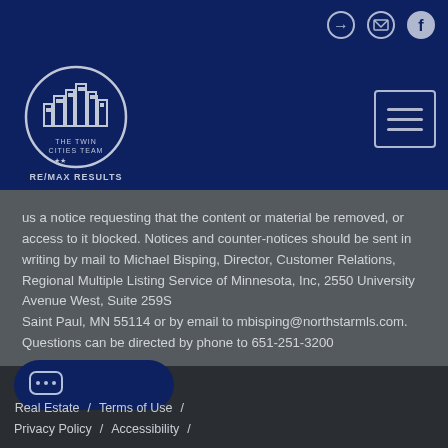[Figure (logo): The Twin Cities Team RE/MAX Results circular logo with city skyline illustration, white outline on dark blue background]
us a notice requesting that the content or material be removed, or access to it blocked. Notices and counter-notices should be sent in writing by mail to Michael Bisping, Director, Customer Relations, Regional Multiple Listing Service of Minnesota, Inc, 2550 University Avenue West, Suite 259S Saint Paul, MN 55114 or by email to mbisping@northstarmls.com. Questions can be directed by phone to 651-251-3200
Real Estate  /  Terms of Use  /  Privacy Policy  /  Accessibility  /